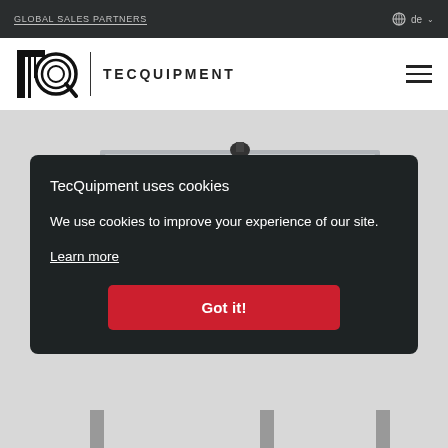GLOBAL SALES PARTNERS
de
[Figure (logo): TecQuipment logo with TQ monogram and wordmark TECQUIPMENT]
[Figure (photo): Engineering equipment - linear rail/track apparatus on metal stands, silver/grey metallic finish]
TecQuipment uses cookies
We use cookies to improve your experience of our site.
Learn more
Got it!